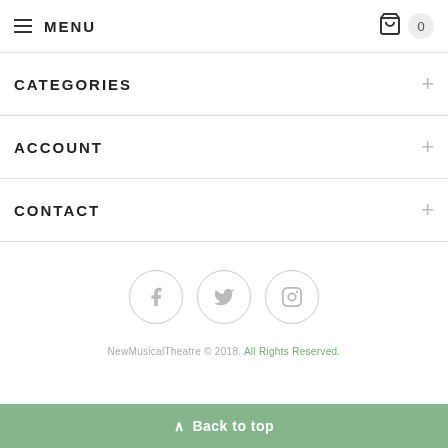≡ MENU  🛒 0
CATEGORIES +
ACCOUNT +
CONTACT +
[Figure (illustration): Three social media icons in circles: Facebook, Twitter, Instagram]
NewMusicalTheatre © 2018. All Rights Reserved.
^ Back to top